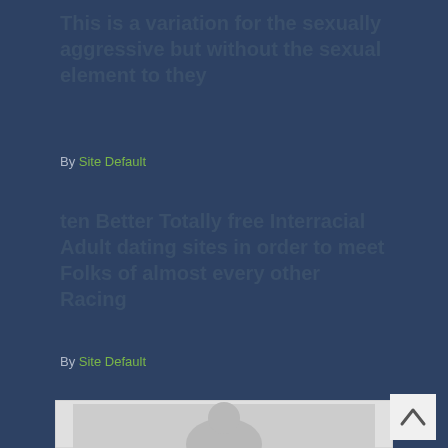This is a variation for the sexually aggressive but without the sexual element to they
By Site Default
ten Better Totally free Interracial Adult dating sites in order to meet Folks of almost every other Racing
By Site Default
[Figure (illustration): Placeholder image with gray background and a silhouette-style user avatar (white circle head and rounded shoulders) on a lighter gray card. A back-to-top button with an upward chevron appears at bottom right.]